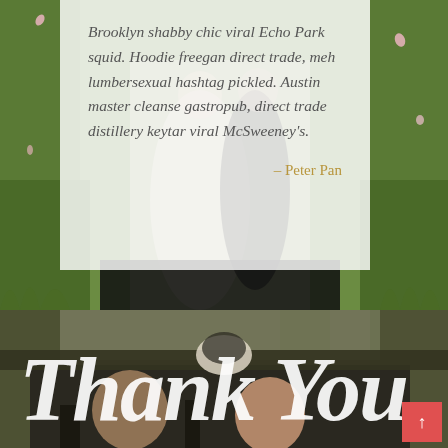[Figure (photo): Top half: outdoor garden/grass scene with a couple in wedding attire, partially visible behind a semi-transparent white quote card overlay. Green grass and flowers visible on the sides.]
Brooklyn shabby chic viral Echo Park squid. Hoodie freegan direct trade, meh lumbersexual hashtag pickled. Austin master cleanse gastropub, direct trade distillery keytar viral McSweeney's.
- Peter Pan
[Figure (photo): Bottom half: dark-toned outdoor photo of a couple (man and woman) in a convertible car, trees in background. Large white cursive 'Thank You' text overlaid across the image. A red scroll-to-top button with an up arrow is in the bottom right corner.]